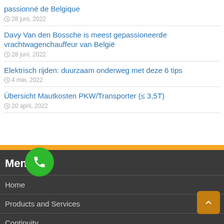passionné de Belgique
28 juni, 2022
Davy Van den Bossche is meest gepassioneerde vrachtwagenchauffeur van België
28 juni, 2022
Elektrisch rijden: duurzaam onderweg met deze 6 tips
4 mei, 2022
Übersicht Mautkosten PKW/Transporter (≤ 3,5T)
20 april, 2022
Menu
Home
Products and Services
Continuity